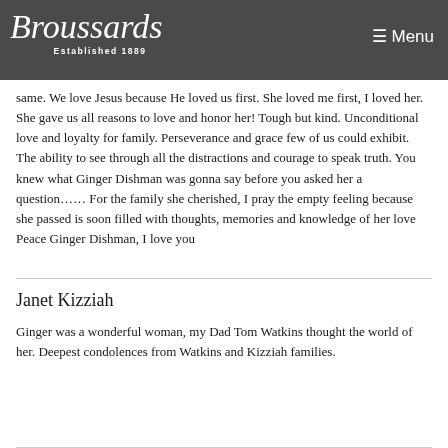Broussards Established 1889 ☰ Menu
same. We love Jesus because He loved us first. She loved me first, I loved her. She gave us all reasons to love and honor her! Tough but kind. Unconditional love and loyalty for family. Perseverance and grace few of us could exhibit. The ability to see through all the distractions and courage to speak truth. You knew what Ginger Dishman was gonna say before you asked her a question…… For the family she cherished, I pray the empty feeling because she passed is soon filled with thoughts, memories and knowledge of her love Peace Ginger Dishman, I love you
Janet Kizziah
Ginger was a wonderful woman, my Dad Tom Watkins thought the world of her. Deepest condolences from Watkins and Kizziah families.